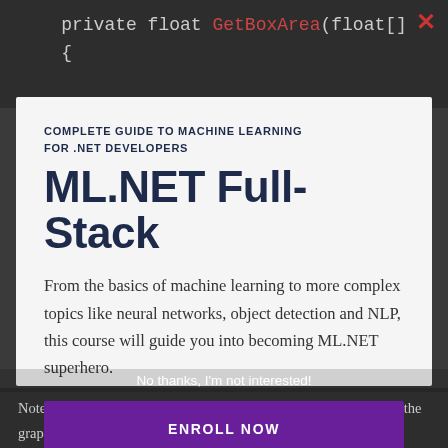private float GetBoxArea(float[]
{
[Figure (screenshot): Red X close button in top right corner of modal]
COMPLETE GUIDE TO MACHINE LEARNING FOR .NET DEVELOPERS
ML.NET Full-Stack
From the basics of machine learning to more complex topics like neural networks, object detection and NLP, this course will guide you into becoming ML.NET superhero.
ENROLL NOW
No thanks, I'm not interested!
Note that here, for the ColumnName we use names that we saw in the graphic representation of YOLO.